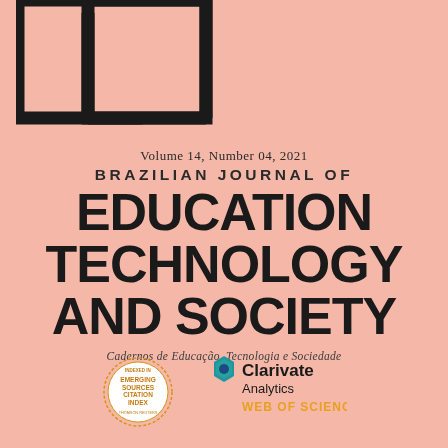[Figure (logo): Abstract geometric logo shapes — overlapping black rectangles/squares arranged in upper left corner of page cover]
Volume 14, Number 04, 2021
BRAZILIAN JOURNAL OF EDUCATION TECHNOLOGY AND SOCIETY
Cadernos de Educação, Tecnologia e Sociedade
[Figure (logo): Emerging Sources Citation Index circular badge/seal logo]
[Figure (logo): Clarivate Analytics Web of Science logo with colorful hexagon icon]